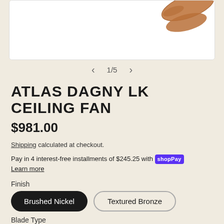[Figure (photo): Partial product image of Atlas Dagny LK Ceiling Fan showing a wooden fan blade on white background]
1/5
ATLAS DAGNY LK CEILING FAN
$981.00
Shipping calculated at checkout.
Pay in 4 interest-free installments of $245.25 with Shop Pay
Learn more
Finish
Brushed Nickel
Textured Bronze
Blade Type
Mahogany Tone Wood Blades